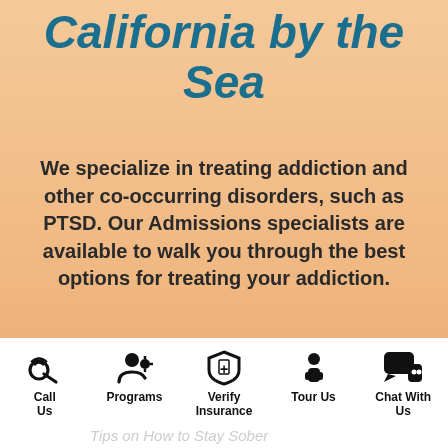Reach Out to Hotel California by the Sea
We specialize in treating addiction and other co-occurring disorders, such as PTSD. Our Admissions specialists are available to walk you through the best options for treating your addiction.
Our Treatment Programs
Check Insurance Coverage
(800) 762-6717
Call Us  Programs  Verify Insurance  Tour Us  Chat With Us
Tips on How to Stay Sober